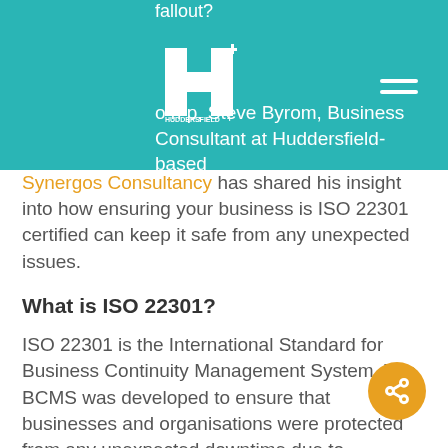fallout?
[Figure (logo): Huddersfield+ logo with H cross shape in white on teal background]
o h p, Steve Byrom, Business Consultant at Huddersfield-based Synergos Consultancy has shared his insight into how ensuring your business is ISO 22301 certified can keep it safe from any unexpected issues.
What is ISO 22301?
ISO 22301 is the International Standard for Business Continuity Management System. The BCMS was developed to ensure that businesses and organisations were protected from any unexpected downtime due to disruption and disaster.